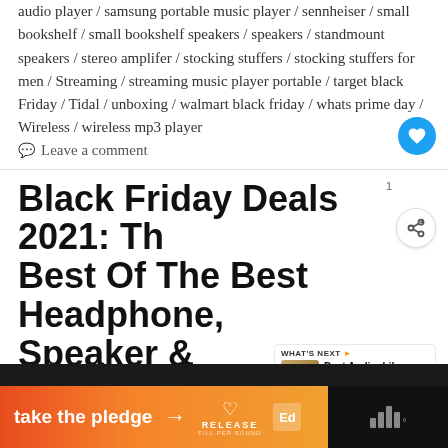audio player / samsung portable music player / sennheiser / small bookshelf / small bookshelf speakers / speakers / standmount speakers / stereo amplifer / stocking stuffers / stocking stuffers for men / Streaming / streaming music player portable / target black Friday / Tidal / unboxing / walmart black friday / whats prime day / Wireless / wireless mp3 player
Leave a comment
Black Friday Deals 2021: The Best Of The Best Headphone, Speaker & Electronics Sales!
WHAT'S NEXT — Best Audiophile...
[Figure (infographic): Orange gradient banner with 'take the pledge' text and arrow, Release heart logo, Ed logo, on dark background with stylized bar logo on right]